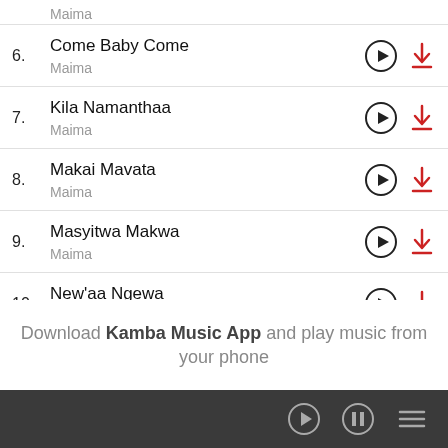Maima (partial, top)
6. Come Baby Come – Maima
7. Kila Namanthaa – Maima
8. Makai Mavata – Maima
9. Masyitwa Makwa – Maima
10. New'aa Ngewa – Maima
Download Kamba Music App and play music from your phone
Player controls bar